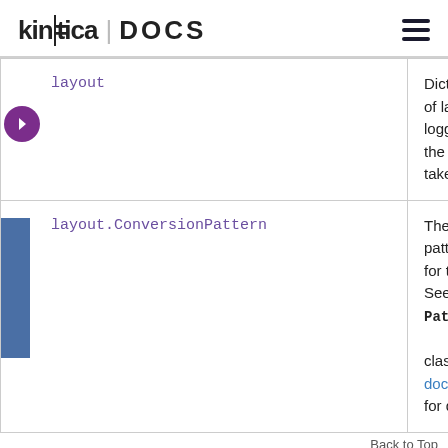kinetica | DOCS
| Parameter | Description |
| --- | --- |
| layout | Dictates the type of layout the logging of what the logging will take form. |
| layout.ConversionPattern | The log4cplus pattern to use for the layout. See the PatternLayout class reference documentation for details. |
Back to Top